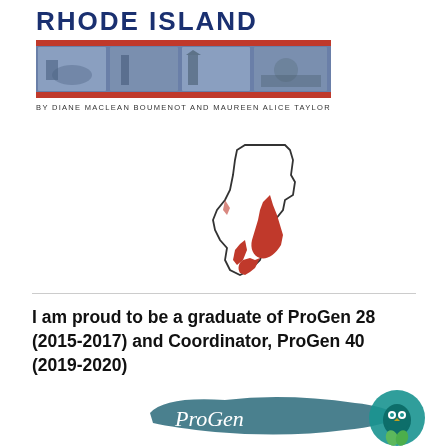[Figure (illustration): Rhode Island book cover with title text 'RHODE ISLAND', a photo banner strip showing coastal/historical scenes, author line, and outline map of Rhode Island with red waterways]
I am proud to be a graduate of ProGen 28 (2015-2017) and Coordinator, ProGen 40 (2019-2020)
[Figure (logo): ProGen genealogy study group logo with teal circle containing an owl/book icon and cursive ProGen text with brushstroke]